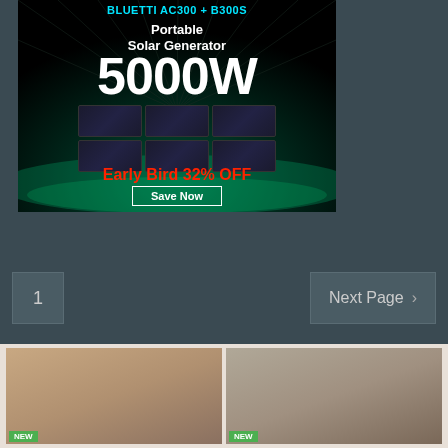[Figure (photo): Advertisement banner for a Portable Solar Generator 5000W with 'Early Bird 32% OFF' and 'Save Now' button on a dark background]
1
Next Page >
[Figure (photo): Thumbnail image of a person standing in a room, with a NEW badge]
[Figure (photo): Thumbnail image of a person in a room with plants, with a NEW badge]